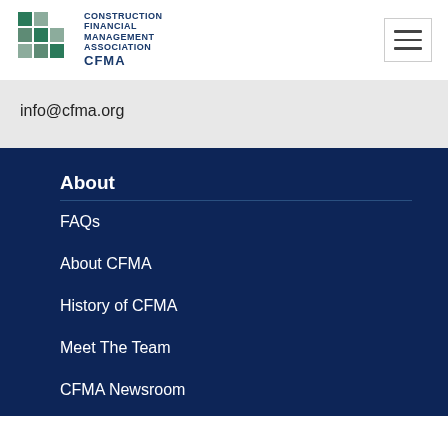[Figure (logo): CFMA Construction Financial Management Association logo with teal/green grid squares and dark blue text]
info@cfma.org
About
FAQs
About CFMA
History of CFMA
Meet The Team
CFMA Newsroom